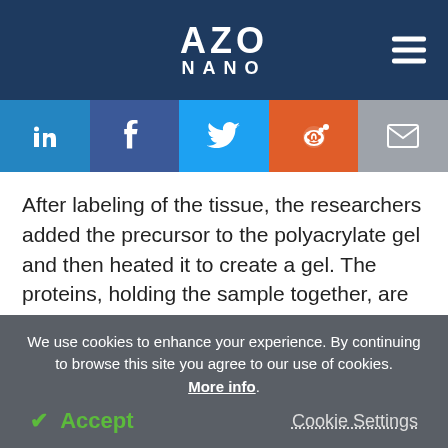AZO NANO
[Figure (infographic): Social media sharing bar with LinkedIn, Facebook, Twitter, Reddit, and Email icons]
After labeling of the tissue, the researchers added the precursor to the polyacrylate gel and then heated it to create a gel. The proteins, holding the sample together, are digested, thereby permitting uniform expansion. The sample is then washed using salt-free water so as to stimulate the volume to expand a 100-
We use cookies to enhance your experience. By continuing to browse this site you agree to our use of cookies. More info. Accept Cookie Settings